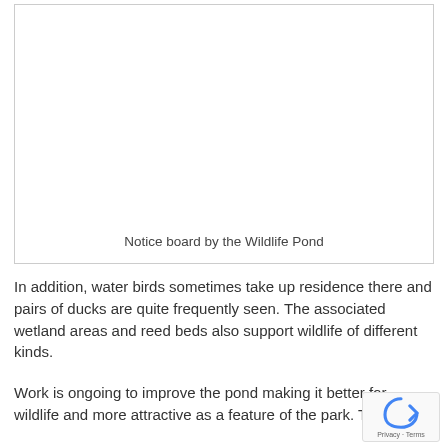[Figure (photo): Empty white box representing an image of a notice board by the Wildlife Pond]
Notice board by the Wildlife Pond
In addition, water birds sometimes take up residence there and pairs of ducks are quite frequently seen. The associated wetland areas and reed beds also support wildlife of different kinds.
Work is ongoing to improve the pond making it better for wildlife and more attractive as a feature of the park. The